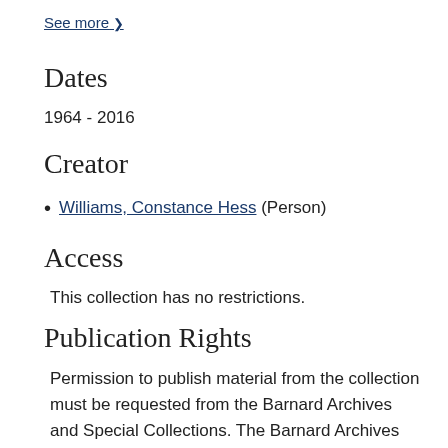See more ❯
Dates
1964 - 2016
Creator
Williams, Constance Hess (Person)
Access
This collection has no restrictions.
Publication Rights
Permission to publish material from the collection must be requested from the Barnard Archives and Special Collections. The Barnard Archives and Special Collections approves permission to publish that which it physically owns; the responsibility to ensure